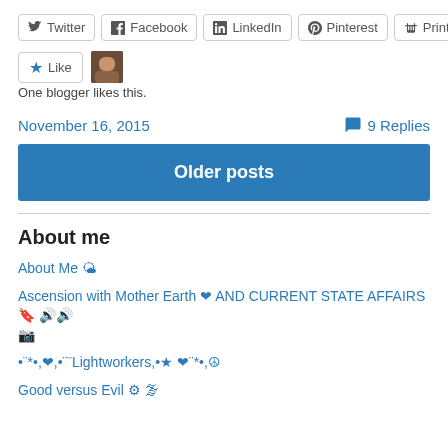[Figure (infographic): Social share buttons: Twitter, Facebook, LinkedIn, Pinterest, Print]
[Figure (infographic): Like button with star icon and avatar thumbnail]
One blogger likes this.
November 16, 2015   💬 9 Replies
Older posts
About me
About Me 🌤
Ascension with Mother Earth ❤ AND CURRENT STATE AFFAIRS🔖 🔊🔊 📷
•¨*•,❤,•¨¨Lightworkers,•★ ❤¨*•,☮
Good versus Evil ⚙ 🌫